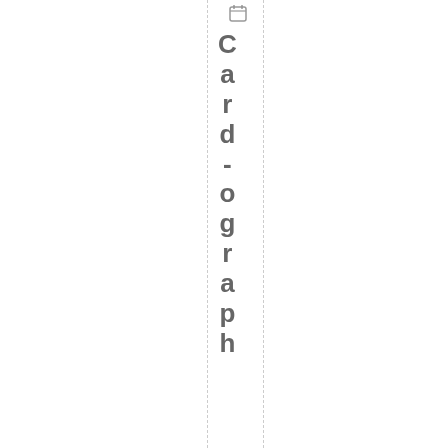[Figure (logo): Small icon/logo at top center of the vertical strip]
Card-ograph